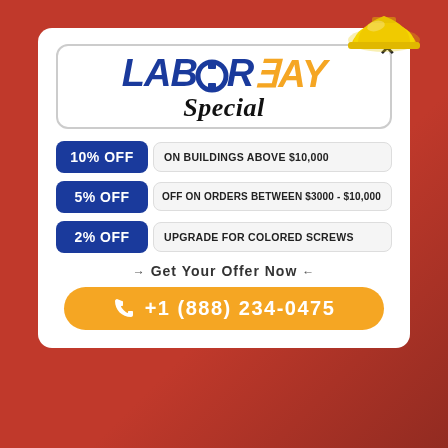[Figure (infographic): Labor Day Special promotional modal popup with a hard hat graphic, logo, discount offers, and call-to-action phone number]
LABOR DAY Special
10% OFF ON BUILDINGS ABOVE $10,000
5% OFF OFF ON ORDERS BETWEEN $3000 - $10,000
2% OFF UPGRADE FOR COLORED SCREWS
- Get Your Offer Now -
+1 (888) 234-0475